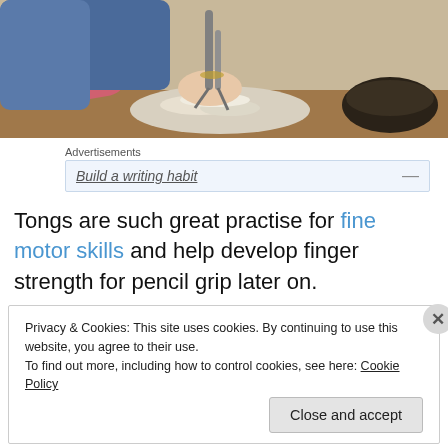[Figure (photo): A child using tongs to pick up food shavings on a plate, wearing a pink sleeve and denim jacket. A dark bowl is visible to the right on a wooden surface.]
Advertisements
Build a writing habit
Tongs are such great practise for fine motor skills and help develop finger strength for pencil grip later on.
Privacy & Cookies: This site uses cookies. By continuing to use this website, you agree to their use.
To find out more, including how to control cookies, see here: Cookie Policy
Close and accept